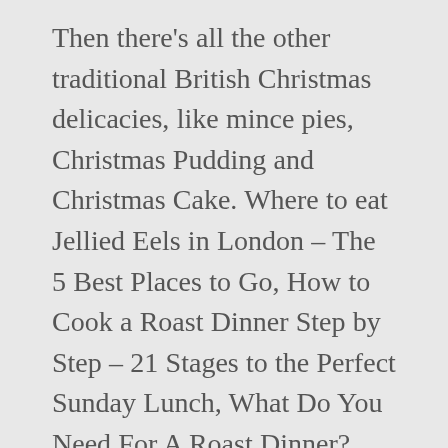Then there's all the other traditional British Christmas delicacies, like mince pies, Christmas Pudding and Christmas Cake. Where to eat Jellied Eels in London – The 5 Best Places to Go, How to Cook a Roast Dinner Step by Step – 21 Stages to the Perfect Sunday Lunch, What Do You Need For A Roast Dinner? Get ready to drool as we tuck into some of the most delicious British foods that are guaranteed to tantalize your taste buds and warm the cockles. As we all have different taste preferences, daily routines, health awareness and religions, there's no single answer to this question! It sometimes comes with onion gravy, fried onions, or peas. That said, you can read about a typical breakfast